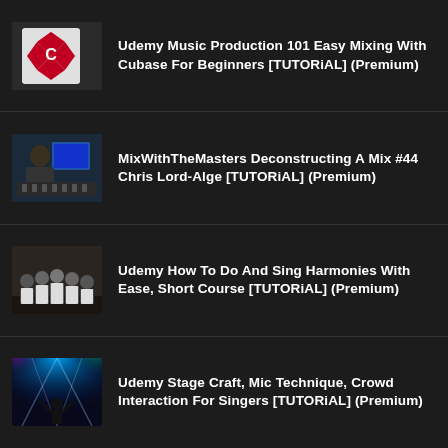Udemy Music Production 101 Easy Mixing With Cubase For Beginners [TUTORiAL] (Premium)
MixWithTheMasters Deconstructing A Mix #44 Chris Lord-Alge [TUTORiAL] (Premium)
Udemy How To Do And Sing Harmonies With Ease, Short Course [TUTORiAL] (Premium)
Udemy Stage Craft, Mic Technique, Crowd Interaction For Singers [TUTORiAL] (Premium)